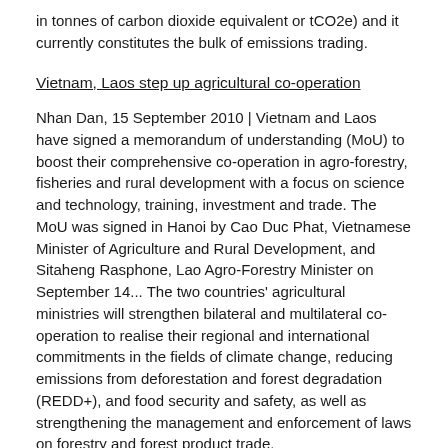in tonnes of carbon dioxide equivalent or tCO2e) and it currently constitutes the bulk of emissions trading.
Vietnam, Laos step up agricultural co-operation
Nhan Dan, 15 September 2010 | Vietnam and Laos have signed a memorandum of understanding (MoU) to boost their comprehensive co-operation in agro-forestry, fisheries and rural development with a focus on science and technology, training, investment and trade. The MoU was signed in Hanoi by Cao Duc Phat, Vietnamese Minister of Agriculture and Rural Development, and Sitaheng Rasphone, Lao Agro-Forestry Minister on September 14... The two countries' agricultural ministries will strengthen bilateral and multilateral co-operation to realise their regional and international commitments in the fields of climate change, reducing emissions from deforestation and forest degradation (REDD+), and food security and safety, as well as strengthening the management and enforcement of laws on forestry and forest product trade.
International Financing for REDD